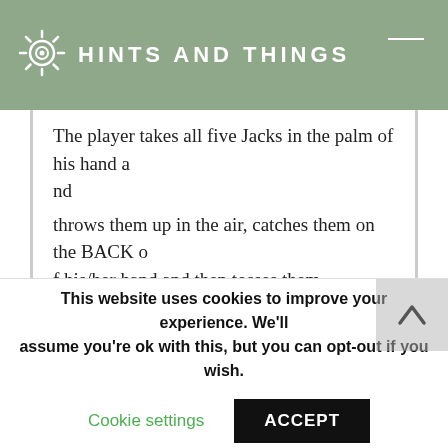HINTS AND THINGS
The player takes all five Jacks in the palm of his hand and throws them up in the air, catches them on the BACK of his/her hand and then tosses them from the back of the hand and catches them in the palm.  If he/she fails to catch any, the player is out.  If more than one is caught, all but one is put on the ground, the remaining one is thrown in the air, a Jack is retrieved from the ground and then the jack is caught using the same hand at all times. Continue in this way until
This website uses cookies to improve your experience. We'll assume you're ok with this, but you can opt-out if you wish.
Cookie settings   ACCEPT